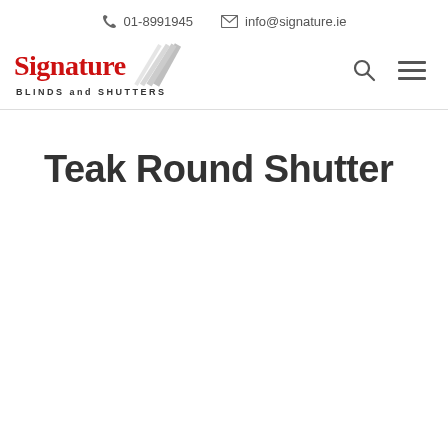📞 01-8991945  ✉ info@signature.ie
[Figure (logo): Signature Blinds and Shutters logo with stylized blind/fan graphic in grey on right side of text]
Teak Round Shutter